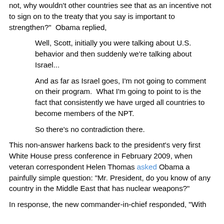not, why wouldn't other countries see that as an incentive not to sign on to the treaty that you say is important to strengthen?"  Obama replied,
Well, Scott, initially you were talking about U.S. behavior and then suddenly we're talking about Israel...
And as far as Israel goes, I'm not going to comment on their program.  What I'm going to point to is the fact that consistently we have urged all countries to become members of the NPT.
So there's no contradiction there.
This non-answer harkens back to the president's very first White House press conference in February 2009, when veteran correspondent Helen Thomas asked Obama a painfully simple question: "Mr. President, do you know of any country in the Middle East that has nuclear weapons?"
In response, the new commander-in-chief responded, "With